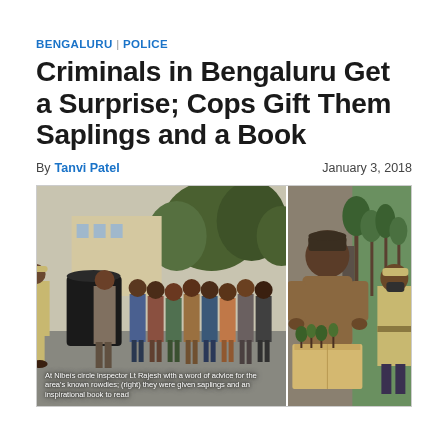BENGALURU | POLICE
Criminals in Bengaluru Get a Surprise; Cops Gift Them Saplings and a Book
By Tanvi Patel    January 3, 2018
[Figure (photo): Two-panel photo: Left panel shows a police officer in uniform addressing a line of young men standing outdoors near a large black water tank with trees in background. Right panel shows a man in a brown jacket and beanie looking down at a box with saplings, with a police officer standing behind him.]
At Nibeís circle inspector Lt Rajesh with a word of advice for the area's known rowdies; (right) they were given saplings and an inspirational book to read